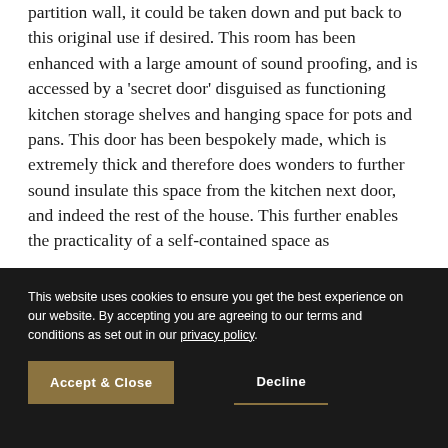partition wall, it could be taken down and put back to this original use if desired. This room has been enhanced with a large amount of sound proofing, and is accessed by a 'secret door' disguised as functioning kitchen storage shelves and hanging space for pots and pans. This door has been bespokely made, which is extremely thick and therefore does wonders to further sound insulate this space from the kitchen next door, and indeed the rest of the house. This further enables the practicality of a self-contained space as
This website uses cookies to ensure you get the best experience on our website. By accepting you are agreeing to our terms and conditions as set out in our privacy policy.